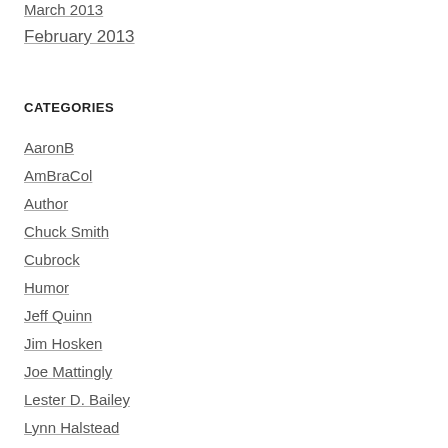March 2013
February 2013
CATEGORIES
AaronB
AmBraCol
Author
Chuck Smith
Cubrock
Humor
Jeff Quinn
Jim Hosken
Joe Mattingly
Lester D. Bailey
Lynn Halstead
Marc Murphy
Mark Twain